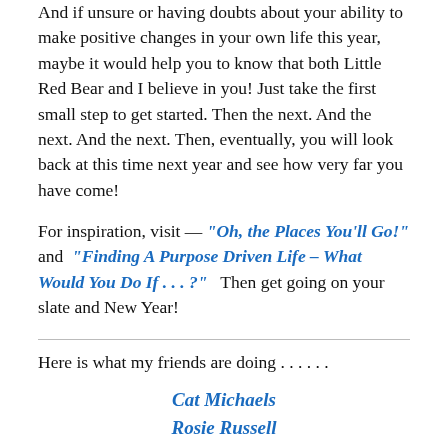And if unsure or having doubts about your ability to make positive changes in your own life this year, maybe it would help you to know that both Little Red Bear and I believe in you! Just take the first small step to get started. Then the next. And the next. And the next. Then, eventually, you will look back at this time next year and see how very far you have come!
For inspiration, visit — "Oh, the Places You'll Go!" and "Finding A Purpose Driven Life – What Would You Do If . . . ?"  Then get going on your slate and New Year!
Here is what my friends are doing . . . . . .
Cat Michaels
Rosie Russell